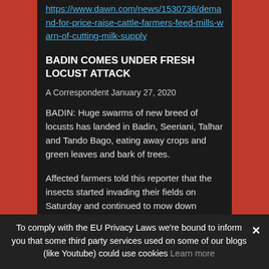https://www.dawn.com/news/1530736/demand-for-price-raise-cattle-farmers-feed-mills-warn-of-cutting-milk-supply
BADIN COMES UNDER FRESH LOCUST ATTACK
A Correspondent January 27, 2020
BADIN: Huge swarms of new breed of locusts has landed in Badin, Seeriani, Talhar and Tando Bago, eating away crops and green leaves and bark of trees.
Affected farmers told this reporter that the insects started invading their fields on Saturday and continued to mow down standing crops of wheat and tomatoes on hundreds of acres. The fresh attack had literally broken their back as it inflicted on them losses on a massive scale, they said.
To comply with the EU Privacy Laws we're bound to inform you that some third party services used on some of our blogs (like Youtube) could use cookies Learn more